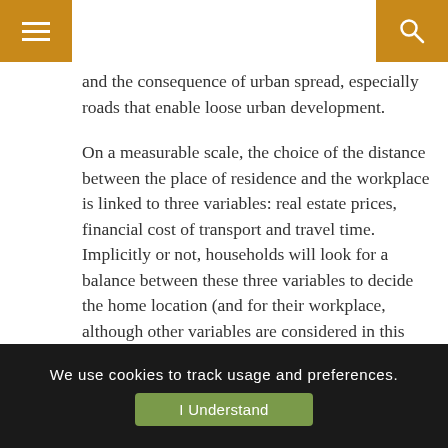[Navigation header with hamburger menu and search icon]
Therefore, creating or developing new transport infrastructure becomes at the same time the cause and the consequence of urban spread, especially roads that enable loose urban development.
On a measurable scale, the choice of the distance between the place of residence and the workplace is linked to three variables: real estate prices, financial cost of transport and travel time. Implicitly or not, households will look for a balance between these three variables to decide the home location (and for their workplace, although other variables are considered in this case). High rents around workplaces will encourage households to move further, even if it means a higher daily cost and longer travel time. In
We use cookies to track usage and preferences. I Understand